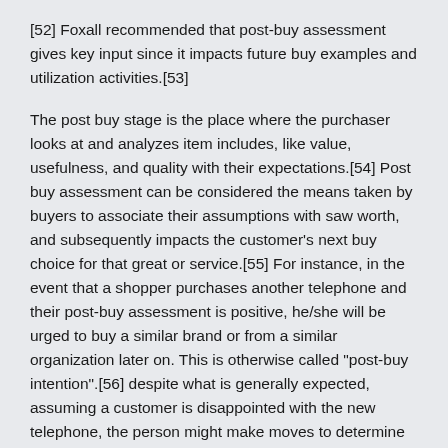[52] Foxall recommended that post-buy assessment gives key input since it impacts future buy examples and utilization activities.[53]
The post buy stage is the place where the purchaser looks at and analyzes item includes, like value, usefulness, and quality with their expectations.[54] Post buy assessment can be considered the means taken by buyers to associate their assumptions with saw worth, and subsequently impacts the customer's next buy choice for that great or service.[55] For instance, in the event that a shopper purchases another telephone and their post-buy assessment is positive, he/she will be urged to buy a similar brand or from a similar organization later on. This is otherwise called "post-buy intention".[56] despite what is generally expected, assuming a customer is disappointed with the new telephone, the person might make moves to determine the disappointment. Purchaser activities, in this occurrence, could include mentioning a discount, submitting a question, choosing not to